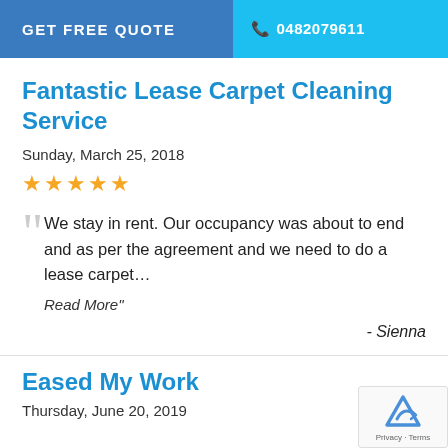GET FREE QUOTE   0482079611
Fantastic Lease Carpet Cleaning Service
Sunday, March 25, 2018
★★★★★
We stay in rent. Our occupancy was about to end and as per the agreement and we need to do a lease carpet…
Read More"
- Sienna
Eased My Work
Thursday, June 20, 2019